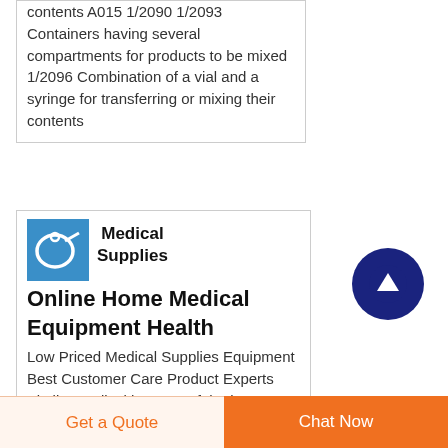contents A015 1/2090 1/2093 Containers having several compartments for products to be mixed 1/2096 Combination of a vial and a syringe for transferring or mixing their contents
[Figure (photo): Medical supplies image with tubing/catheter on blue background]
Medical Supplies Online Home Medical Equipment Health
Low Priced Medical Supplies Equipment Best Customer Care Product Experts Vitality Medical has one of the largest
Get a Quote
Chat Now